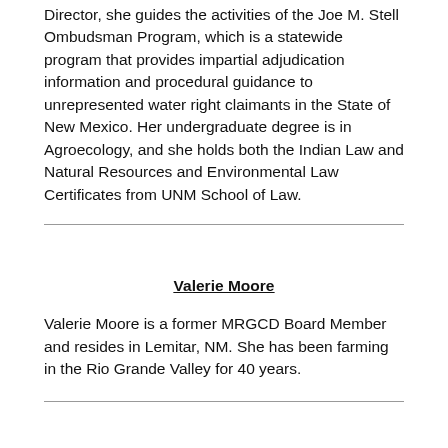Director, she guides the activities of the Joe M. Stell Ombudsman Program, which is a statewide program that provides impartial adjudication information and procedural guidance to unrepresented water right claimants in the State of New Mexico. Her undergraduate degree is in Agroecology, and she holds both the Indian Law and Natural Resources and Environmental Law Certificates from UNM School of Law.
Valerie Moore
Valerie Moore is a former MRGCD Board Member and resides in Lemitar, NM. She has been farming in the Rio Grande Valley for 40 years.